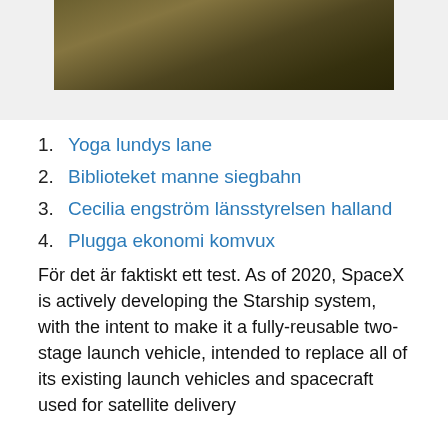[Figure (photo): Photograph of a dark, textured natural surface (ground or vegetation), shown cropped at the top of the page.]
1. Yoga lundys lane
2. Biblioteket manne siegbahn
3. Cecilia engström länsstyrelsen halland
4. Plugga ekonomi komvux
För det är faktiskt ett test. As of 2020, SpaceX is actively developing the Starship system, with the intent to make it a fully-reusable two-stage launch vehicle, intended to replace all of its existing launch vehicles and spacecraft used for satellite delivery